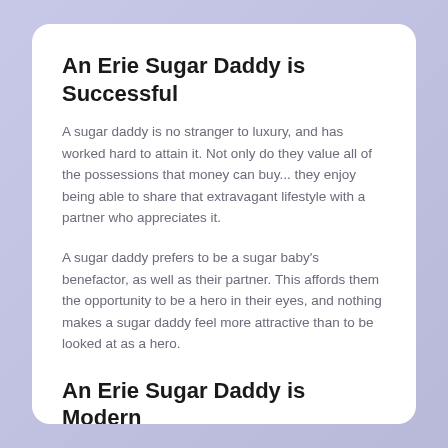An Erie Sugar Daddy is Successful
A sugar daddy is no stranger to luxury, and has worked hard to attain it. Not only do they value all of the possessions that money can buy... they enjoy being able to share that extravagant lifestyle with a partner who appreciates it.
A sugar daddy prefers to be a sugar baby's benefactor, as well as their partner. This affords them the opportunity to be a hero in their eyes, and nothing makes a sugar daddy feel more attractive than to be looked at as a hero.
An Erie Sugar Daddy is Modern
Although they tend to be steeped in old-fashioned